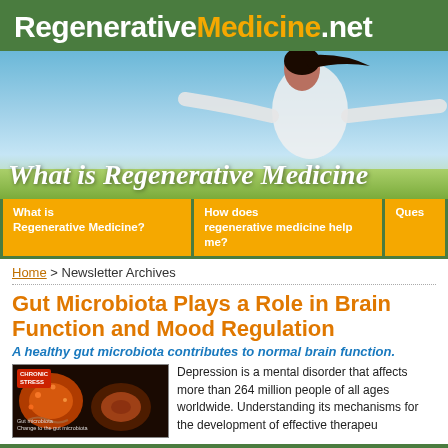RegenerativeMedicine.net
[Figure (photo): Hero banner image showing a woman with arms outstretched against a blue sky background, with the overlaid text 'What is Regenerative Medicine']
What is Regenerative Medicine?
How does regenerative medicine help me?
Ques
Home > Newsletter Archives
Gut Microbiota Plays a Role in Brain Function and Mood Regulation
A healthy gut microbiota contributes to normal brain function.
[Figure (illustration): Medical diagram showing gut microbiota with 'Chronic Stress' label, orange and red gut bacteria illustration, and diagram of intestinal tract changes]
Depression is a mental disorder that affects more than 264 million people of all ages worldwide. Understanding its mechanisms for the development of effective therapeutics